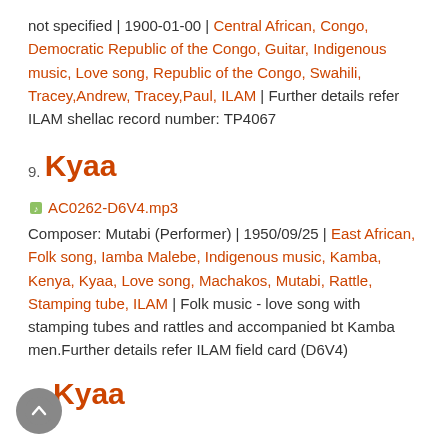not specified | 1900-01-00 | Central African, Congo, Democratic Republic of the Congo, Guitar, Indigenous music, Love song, Republic of the Congo, Swahili, Tracey,Andrew, Tracey,Paul, ILAM | Further details refer ILAM shellac record number: TP4067
9. Kyaa
AC0262-D6V4.mp3
Composer: Mutabi (Performer) | 1950/09/25 | East African, Folk song, Iamba Malebe, Indigenous music, Kamba, Kenya, Kyaa, Love song, Machakos, Mutabi, Rattle, Stamping tube, ILAM | Folk music - love song with stamping tubes and rattles and accompanied bt Kamba men.Further details refer ILAM field card (D6V4)
10. Kyaa